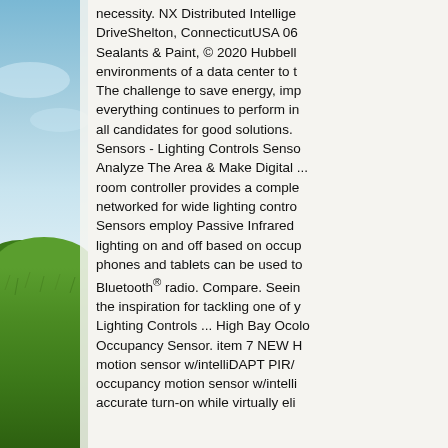[Figure (photo): Left side panel showing a nature photo with green grass and blue sky, partially visible]
necessity. NX Distributed Intellige... DriveShelton, ConnecticutUSA 06... Sealants & Paint, © 2020 Hubbell... environments of a data center to t... The challenge to save energy, im... everything continues to perform in... all candidates for good solutions. Sensors - Lighting Controls Senso... Analyze The Area & Make Digital ... room controller provides a comple... networked for wide lighting contro... Sensors employ Passive Infrared ... lighting on and off based on occup... phones and tablets can be used to... Bluetooth® radio. Compare. Seein... the inspiration for tackling one of y... Lighting Controls ... High Bay Ocolo... Occupancy Sensor. item 7 NEW H... motion sensor w/intelliDAPT PIR/... occupancy motion sensor w/intelli... accurate turn-on while virtually eli...